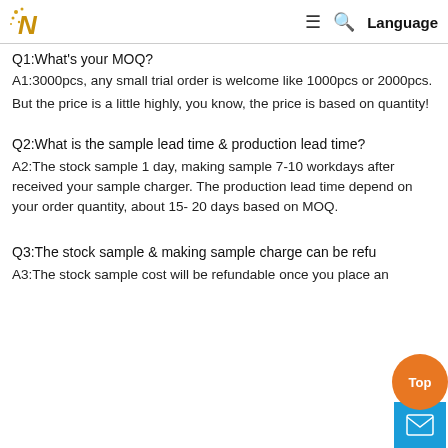N Language
Q1:What's your MOQ?
A1:3000pcs, any small trial order is welcome like 1000pcs or 2000pcs.
But the price is a little highly, you know, the price is based on quantity!
Q2:What is the sample lead time & production lead time?
A2:The stock sample 1 day, making sample 7-10 workdays after received your sample charger. The production lead time depend on your order quantity, about 15- 20 days based on MOQ.
Q3:The stock sample & making sample charge can be refu...
A3:The stock sample cost will be refundable once you place an...